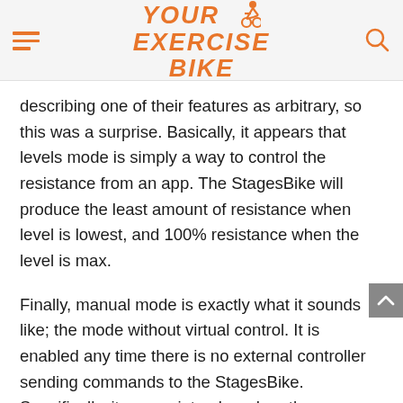YOUR EXERCISE BIKE
describing one of their features as arbitrary, so this was a surprise. Basically, it appears that levels mode is simply a way to control the resistance from an app. The StagesBike will produce the least amount of resistance when level is lowest, and 100% resistance when the level is max.
Finally, manual mode is exactly what it sounds like; the mode without virtual control. It is enabled any time there is no external controller sending commands to the StagesBike. Specifically, it comes into play when the user turns on the SB20 or when there are 15 minutes of inactivity. Manual mode allows users to change gears using the shift